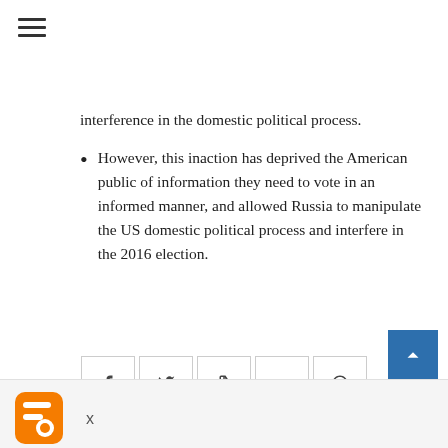[Figure (infographic): Hamburger/menu icon (three horizontal lines) in top left corner]
interference in the domestic political process.
However, this inaction has deprived the American public of information they need to vote in an informed manner, and allowed Russia to manipulate the US domestic political process and interfere in the 2016 election.
[Figure (infographic): Social sharing buttons: Facebook (f), Twitter (bird), Tumblr (t), Google+ (G+), Pinterest (p)]
[Figure (infographic): Back to top button (dark blue square with upward chevron arrow) in bottom right]
[Figure (logo): Blogger orange icon/logo at bottom left]
x